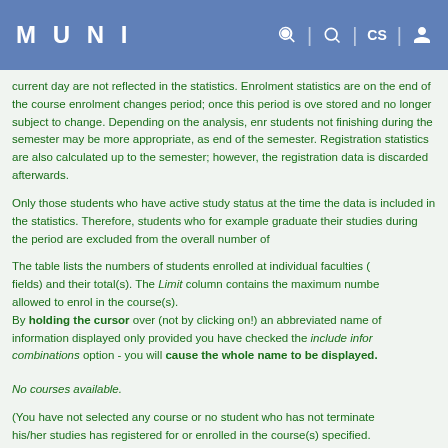MUNI
current day are not reflected in the statistics. Enrolment statistics are only updated at the end of the course enrolment changes period; once this period is over, the data is stored and no longer subject to change. Depending on the analysis, enrolment without students not finishing during the semester may be more appropriate, as they leave at the end of the semester. Registration statistics are also calculated up to the end of the semester; however, the registration data is discarded afterwards.
Only those students who have active study status at the time the data is updated are included in the statistics. Therefore, students who for example graduated or terminated their studies during the period are excluded from the overall number of students.
The table lists the numbers of students enrolled at individual faculties (or study fields) and their total(s). The Limit column contains the maximum number of students allowed to enrol in the course(s).
By holding the cursor over (not by clicking on!) an abbreviated name of a field - information displayed only provided you have checked the include information about combinations option - you will cause the whole name to be displayed.
No courses available.
(You have not selected any course or no student who has not terminated his/her studies has registered for or enrolled in the course(s) specified.